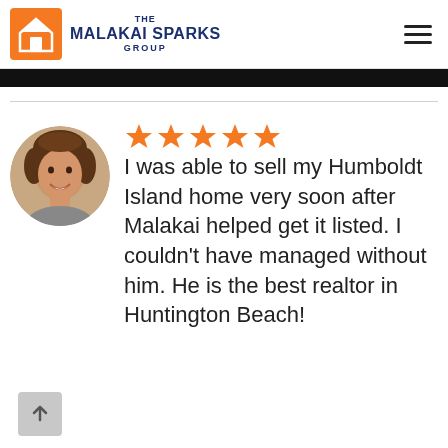[Figure (logo): The Malakai Sparks Group logo — orange square with white house icon, beside bold navy text reading THE MALAKAI SPARKS GROUP]
I was able to sell my Humboldt Island home very soon after Malakai helped get it listed. I couldn't have managed without him. He is the best realtor in Huntington Beach!